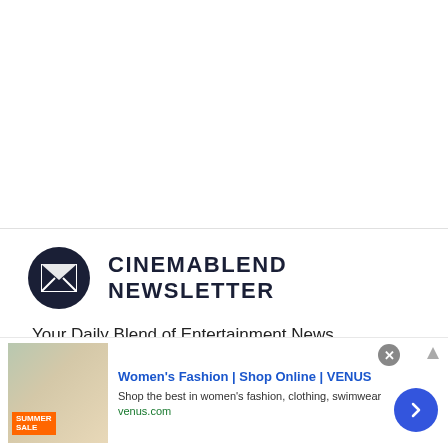[Figure (other): White empty space area at top of page]
CINEMABLEND NEWSLETTER
Your Daily Blend of Entertainment News
Your Email Address
[Figure (screenshot): Advertisement banner: Women's Fashion | Shop Online | VENUS. Shop the best in women's fashion, clothing, swimwear. venus.com]